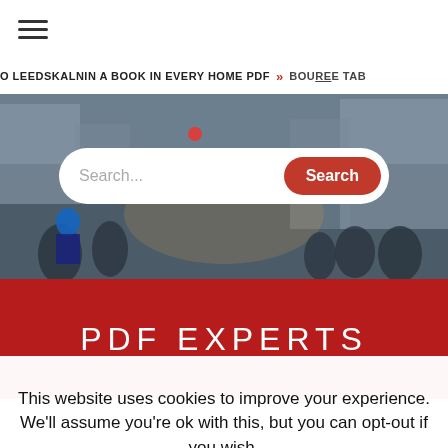☰
O LEEDSKALNIN A BOOK IN EVERY HOME PDF » BOUREE TAB
[Figure (photo): Street scene with crowd of people and city buildings in background with search bar overlay]
PDF EXPERTS
This website uses cookies to improve your experience. We'll assume you're ok with this, but you can opt-out if you wish.
Cookie settings   ACCEPT